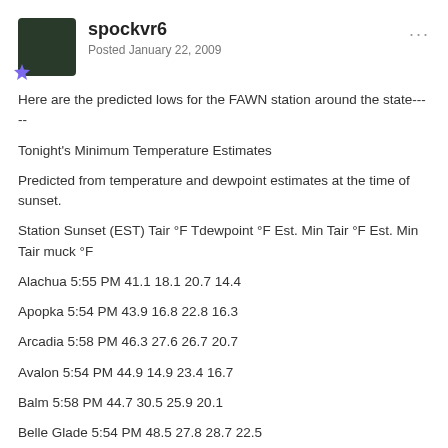spockvr6
Posted January 22, 2009
Here are the predicted lows for the FAWN station around the state-----
Tonight's Minimum Temperature Estimates
Predicted from temperature and dewpoint estimates at the time of sunset.
Station Sunset (EST) Tair °F Tdewpoint °F Est. Min Tair °F Est. Min Tair muck °F
Alachua 5:55 PM 41.1 18.1 20.7 14.4
Apopka 5:54 PM 43.9 16.8 22.8 16.3
Arcadia 5:58 PM 46.3 27.6 26.7 20.7
Avalon 5:54 PM 44.9 14.9 23.4 16.7
Balm 5:58 PM 44.7 30.5 25.9 20.1
Belle Glade 5:54 PM 48.5 27.8 28.7 22.5